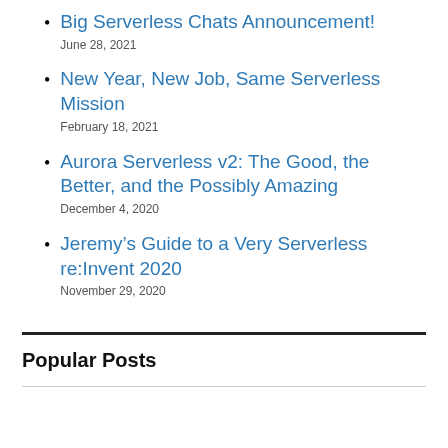Big Serverless Chats Announcement!
June 28, 2021
New Year, New Job, Same Serverless Mission
February 18, 2021
Aurora Serverless v2: The Good, the Better, and the Possibly Amazing
December 4, 2020
Jeremy's Guide to a Very Serverless re:Invent 2020
November 29, 2020
Popular Posts